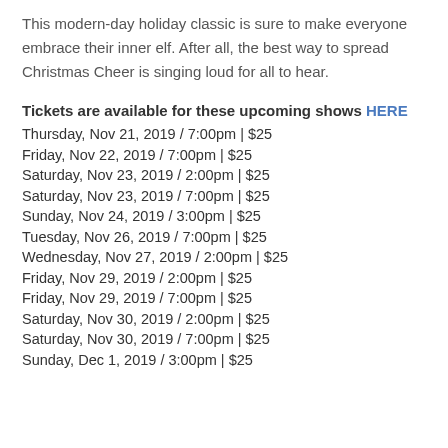This modern-day holiday classic is sure to make everyone embrace their inner elf. After all, the best way to spread Christmas Cheer is singing loud for all to hear.
Tickets are available for these upcoming shows HERE
Thursday, Nov 21, 2019 / 7:00pm | $25
Friday, Nov 22, 2019 / 7:00pm | $25
Saturday, Nov 23, 2019 / 2:00pm | $25
Saturday, Nov 23, 2019 / 7:00pm | $25
Sunday, Nov 24, 2019 / 3:00pm | $25
Tuesday, Nov 26, 2019 / 7:00pm | $25
Wednesday, Nov 27, 2019 / 2:00pm | $25
Friday, Nov 29, 2019 / 2:00pm | $25
Friday, Nov 29, 2019 / 7:00pm | $25
Saturday, Nov 30, 2019 / 2:00pm | $25
Saturday, Nov 30, 2019 / 7:00pm | $25
Sunday, Dec 1, 2019 / 3:00pm | $25